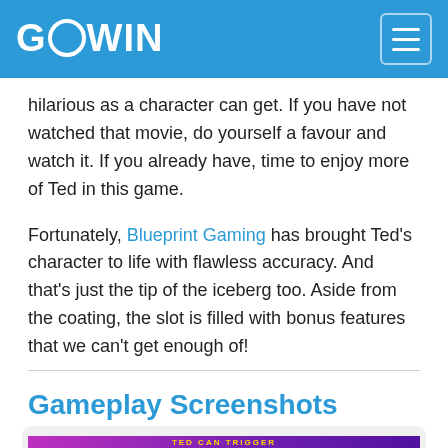GOWIN
hilarious as a character can get. If you have not watched that movie, do yourself a favour and watch it. If you already have, time to enjoy more of Ted in this game.
Fortunately, Blueprint Gaming has brought Ted's character to life with flawless accuracy. And that's just the tip of the iceberg too. Aside from the coating, the slot is filled with bonus features that we can't get enough of!
Gameplay Screenshots
[Figure (screenshot): Partial screenshot preview showing TED CAN TRIGGER text on a purple/magenta game banner]